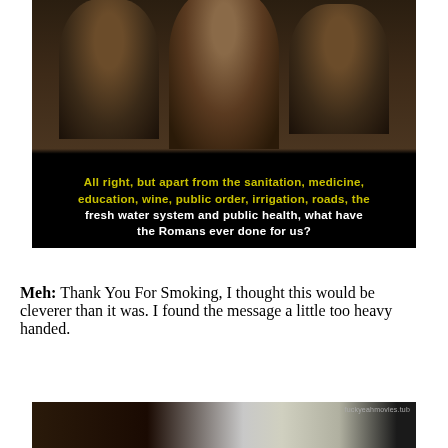[Figure (screenshot): Movie still showing three figures in dark medieval/ancient robes seated together. The center figure appears to be speaking. Subtitles at bottom read: 'All right, but apart from the sanitation, medicine, education, wine, public order, irrigation, roads, the fresh water system and public health, what have the Romans ever done for us?']
Meh: Thank You For Smoking, I thought this would be cleverer than it was. I found the message a little too heavy handed.
[Figure (screenshot): Partial movie still showing two figures, one dark-haired on the left and one with white/silver hair on the right, against a dark background. Watermark reads 'fuckyeahmovies.tub']